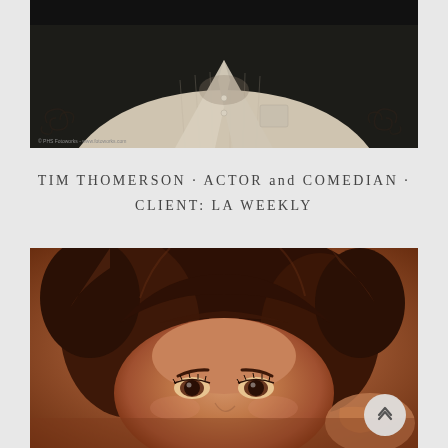[Figure (photo): Black and white portrait photo of Tim Thomerson, actor and comedian, shown from chest up wearing an open linen shirt, with decorative swirl patterns on the sides and a dark background.]
TIM THOMERSON · ACTOR and COMEDIAN · CLIENT: LA WEEKLY
[Figure (photo): Close-up color portrait photo of a woman with curly auburn/brown hair, looking at the camera with expressive dark eyes, warm sepia-toned background.]